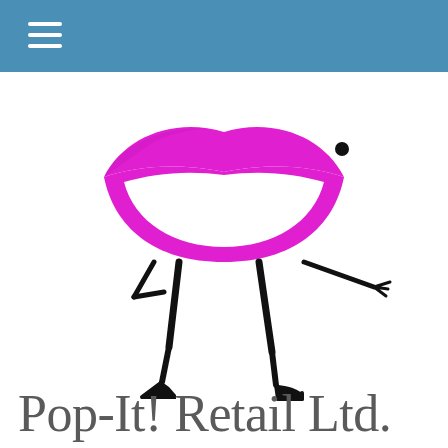[Figure (logo): Pop-It! Retail Ltd. logo: a stylized magenta/pink lips shape with cartoon stick arms and legs in black, posed with one arm extended pointing and legs in high heels. A small black dot eye appears to the upper right of the lips.]
Pop-It! Retail Ltd.